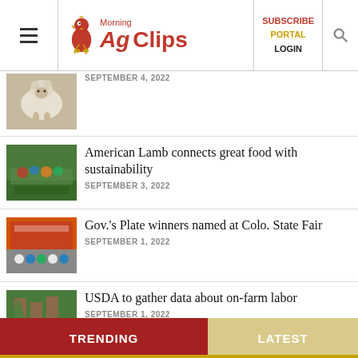Morning AgClips — SUBSCRIBE PORTAL LOGIN
[Figure (photo): Partial sheep/lamb photo, date SEPTEMBER 4, 2022]
SEPTEMBER 4, 2022
[Figure (photo): Group of people in a field, American Lamb sustainability article]
American Lamb connects great food with sustainability
SEPTEMBER 3, 2022
[Figure (photo): Group of children at Colo. State Fair]
Gov.'s Plate winners named at Colo. State Fair
SEPTEMBER 1, 2022
[Figure (photo): Person working in a farm field, USDA labor article]
USDA to gather data about on-farm labor
SEPTEMBER 1, 2022
TRENDING
LATEST